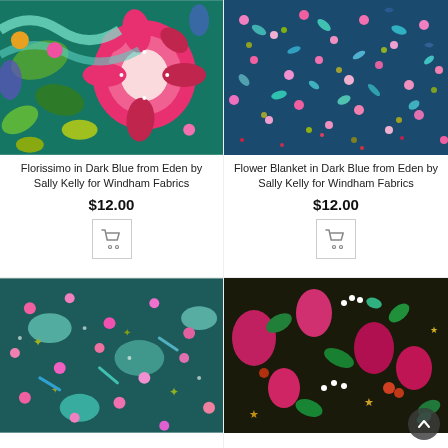[Figure (photo): Florissimo floral fabric in dark blue with large pink/red mandala flowers and green foliage on dark teal background]
Florissimo in Dark Blue from Eden by Sally Kelly for Windham Fabrics
$12.00
[Figure (photo): Flower Blanket floral fabric in dark blue with small multicolor flowers and leaves on dark teal background]
Flower Blanket in Dark Blue from Eden by Sally Kelly for Windham Fabrics
$12.00
[Figure (photo): Flower Blanket fabric partial view — small multicolor flowers on teal background]
[Figure (photo): Florissimo dark floral fabric partial view — vibrant flowers on dark background]